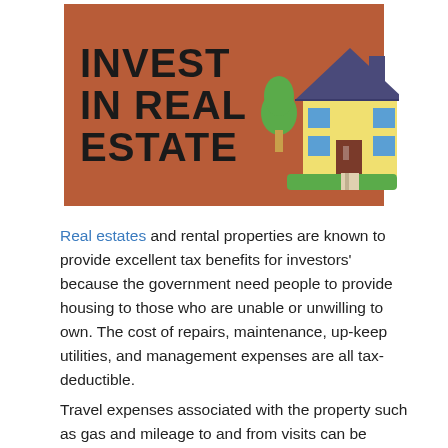[Figure (infographic): Orange/brown banner with white border containing bold black text 'INVEST IN REAL ESTATE' on the left and a flat illustration of a house with green trees and green grass on the right.]
Real estates and rental properties are known to provide excellent tax benefits for investors' because the government need people to provide housing to those who are unable or unwilling to own. The cost of repairs, maintenance, up-keep utilities, and management expenses are all tax-deductible.
Travel expenses associated with the property such as gas and mileage to and from visits can be